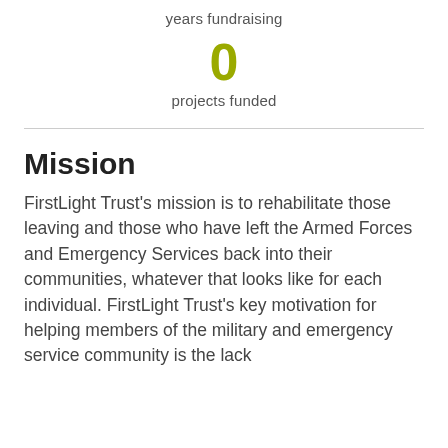years fundraising
0
projects funded
Mission
FirstLight Trust's mission is to rehabilitate those leaving and those who have left the Armed Forces and Emergency Services back into their communities, whatever that looks like for each individual. FirstLight Trust's key motivation for helping members of the military and emergency service community is the lack